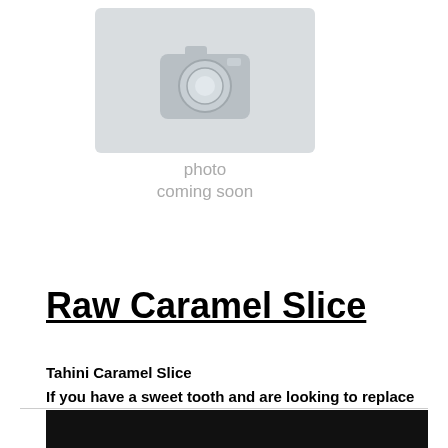[Figure (photo): Placeholder image with camera icon and text 'photo coming soon' on light grey background]
Raw Caramel Slice
Tahini Caramel Slice
If you have a sweet tooth and are looking to replace your refined sugary treats then check this bad boy out!!
Minimal dates, raw honey and amazingly good fats.
Keeps in the freezer so you can make it ahead of time and only take what you need out.
[Figure (photo): Dark/black image at bottom of page, partially visible]